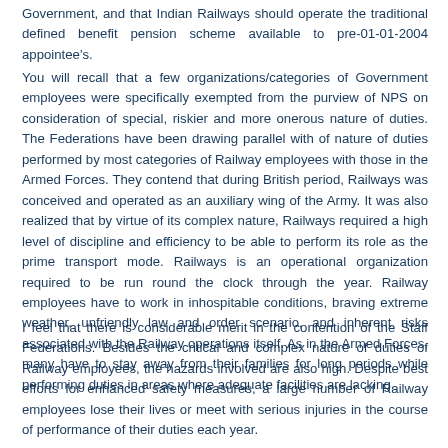Government, and that Indian Railways should operate the traditional defined benefit pension scheme available to pre-01-01-2004 appointee's.
You will recall that a few organizations/categories of Government employees were specifically exempted from the purview of NPS on consideration of special, riskier and more onerous nature of duties. The Federations have been drawing parallel with of nature of duties performed by most categories of Railway employees with those in the Armed Forces. They contend that during British period, Railways was conceived and operated as an auxiliary wing of the Army. It was also realized that by virtue of its complex nature, Railways required a high level of discipline and efficiency to be able to perform its role as the prime transport mode. Railways is an operational organization required to be run round the clock through the year. Railway employees have to work in inhospitable conditions, braving extreme weather, unfriendly law and order scenario, and inherent risks associated with the Railway operations itself. As in the Armed Forces, many have to stay away from their families for long periods while performing duties in areas where adequate facilities are lacking.
I feel that there is considerable merit in the contention of the Staff Federations. Besides the critical and complex nature of duties of Railway employees, the hazards involved are also high. Despite best efforts for enhanced safety measures, a large number of Railway employees lose their lives or meet with serious injuries in the course of performance of their duties each year.